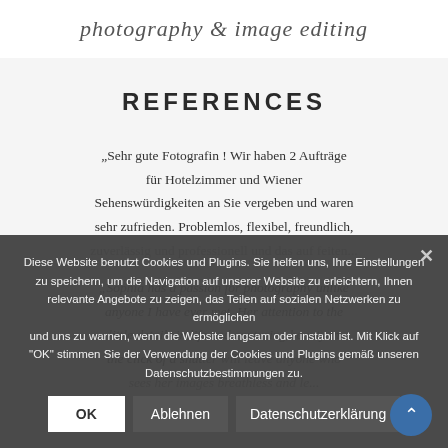photography & image editing
REFERENCES
„Sehr gute Fotografin ! Wir haben 2 Aufträge für Hotelzimmer und Wiener Sehenswürdigkeiten an Sie vergeben und waren sehr zufrieden. Problemlos, flexibel, freundlich, zuverlässig und professionell und das auf feiten...
„Sophia has a passion for photography unlike anyone I have ever met. Her attention to the little details in life and capturing beauty in the click of a shutter will leave anyone who sees her images breathless and le...
Diese Website benutzt Cookies und Plugins. Sie helfen uns, Ihre Einstellungen zu speichern, um die Navigation auf unserer Website zu erleichtern, Ihnen relevante Angebote zu zeigen, das Teilen auf sozialen Netzwerken zu ermöglichen und uns zu warnen, wenn die Website langsam oder instabil ist. Mit Klick auf "OK" stimmen Sie der Verwendung der Cookies und Plugins gemäß unseren Datenschutzbestimmungen zu.